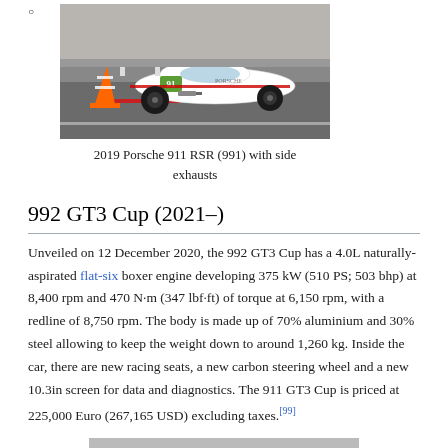[Figure (photo): 2019 Porsche 911 RSR (991) race car on track, white with number 91, orange traffic cone visible, side exhausts prominent]
2019 Porsche 911 RSR (991) with side exhausts
992 GT3 Cup (2021–)
Unveiled on 12 December 2020, the 992 GT3 Cup has a 4.0L naturally-aspirated flat-six boxer engine developing 375 kW (510 PS; 503 bhp) at 8,400 rpm and 470 N·m (347 lbf·ft) of torque at 6,150 rpm, with a redline of 8,750 rpm. The body is made up of 70% aluminium and 30% steel allowing to keep the weight down to around 1,260 kg. Inside the car, there are new racing seats, a new carbon steering wheel and a new 10.3in screen for data and diagnostics. The 911 GT3 Cup is priced at 225,000 Euro (267,165 USD) excluding taxes.[99]
[Figure (photo): Partial view of another Porsche racing car, cropped at bottom of page]